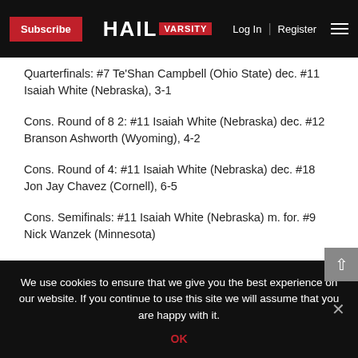Subscribe | HAIL VARSITY | Log In | Register
Quarterfinals: #7 Te'Shan Campbell (Ohio State) dec. #11 Isaiah White (Nebraska), 3-1
Cons. Round of 8 2: #11 Isaiah White (Nebraska) dec. #12 Branson Ashworth (Wyoming), 4-2
Cons. Round of 4: #11 Isaiah White (Nebraska) dec. #18 Jon Jay Chavez (Cornell), 6-5
Cons. Semifinals: #11 Isaiah White (Nebraska) m. for. #9 Nick Wanzek (Minnesota)
Third-Place Match: #11 Isaiah White (Nebraska) dec. #7
We use cookies to ensure that we give you the best experience on our website. If you continue to use this site we will assume that you are happy with it.